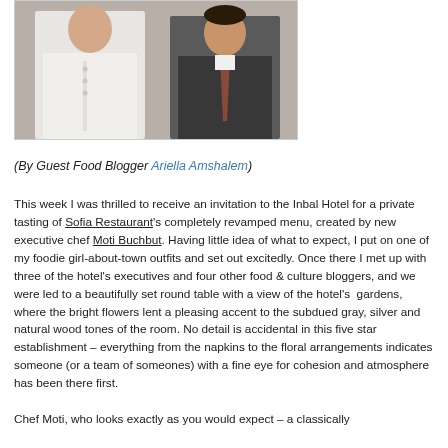[Figure (photo): Two men posing together — one in a white chef's coat and one in a dark suit with tie]
(By Guest Food Blogger Ariella Amshalem)
This week I was thrilled to receive an invitation to the Inbal Hotel for a private tasting of Sofia Restaurant's completely revamped menu, created by new executive chef Moti Buchbut. Having little idea of what to expect, I put on one of my foodie girl-about-town outfits and set out excitedly. Once there I met up with three of the hotel's executives and four other food & culture bloggers, and we were led to a beautifully set round table with a view of the hotel's gardens, where the bright flowers lent a pleasing accent to the subdued gray, silver and natural wood tones of the room. No detail is accidental in this five star establishment – everything from the napkins to the floral arrangements indicates someone (or a team of someones) with a fine eye for cohesion and atmosphere has been there first.
Chef Moti, who looks exactly as you would expect – a classically